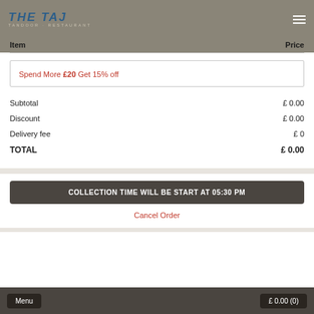THE TAJ - TANDOOR RESTAURANT
| Item | Price |
| --- | --- |
Spend More £20 Get 15% off
|  |  |
| --- | --- |
| Subtotal | £ 0.00 |
| Discount | £ 0.00 |
| Delivery fee | £ 0 |
| TOTAL | £ 0.00 |
COLLECTION TIME WILL BE START AT 05:30 PM
Cancel Order
Menu  £ 0.00 (0)